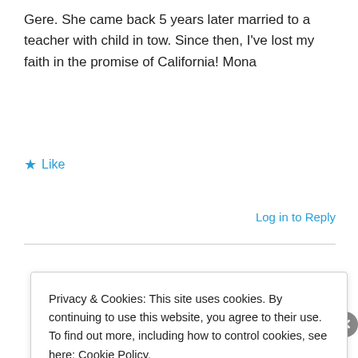Gere. She came back 5 years later married to a teacher with child in tow. Since then, I've lost my faith in the promise of California! Mona
★ Like
Log in to Reply
Privacy & Cookies: This site uses cookies. By continuing to use this website, you agree to their use.
To find out more, including how to control cookies, see here: Cookie Policy
Close and accept